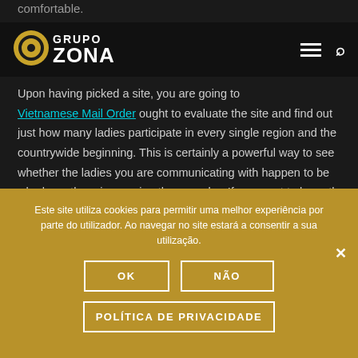comfortable.
[Figure (logo): Grupo Zona logo with golden circle icon and white text]
Upon having picked a site, you are going to Vietnamese Mail Order ought to evaluate the site and find out just how many ladies participate in every single region and the countrywide beginning. This is certainly a powerful way to see whether the ladies you are communicating with happen to be who have there is a saying they may be. If you want to learn the reality, it is
Este site utiliza cookies para permitir uma melhor experiência por parte do utilizador. Ao navegar no site estará a consentir a sua utilização.
OK
NÃO
POLÍTICA DE PRIVACIDADE